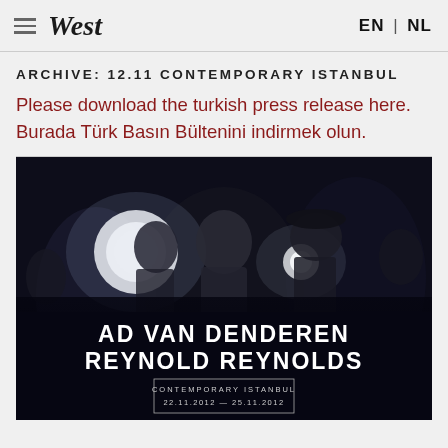West  EN | NL
ARCHIVE: 12.11 CONTEMPORARY ISTANBUL
Please download the turkish press release here.
Burada Türk Basın Bültenini indirmek olun.
[Figure (photo): Dark atmospheric photo of people in a film or stage scene with bright spotlights. Text overlay reads: AD VAN DENDEREN / REYNOLD REYNOLDS / CONTEMPORARY ISTANBUL / 22.11.2012 — 25.11.2012]